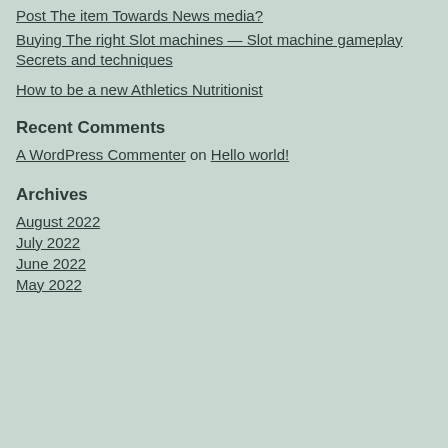Post The item Towards News media?
Buying The right Slot machines — Slot machine gameplay Secrets and techniques
How to be a new Athletics Nutritionist
Recent Comments
A WordPress Commenter on Hello world!
Archives
August 2022
July 2022
June 2022
May 2022